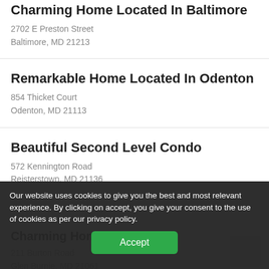Charming Home Located In Baltimore
2702 E Preston Street
Baltimore, MD 21213
Remarkable Home Located In Odenton
854 Thicket Court
Odenton, MD 21113
Beautiful Second Level Condo
572 Kennington Road
Reisterstown, MD 21136
Our website uses cookies to give you the best and most relevant experience. By clicking on accept, you give your consent to the use of cookies as per our privacy policy.
Charming Home Located
211 Burton Road
Glen Burnie, MD 21061